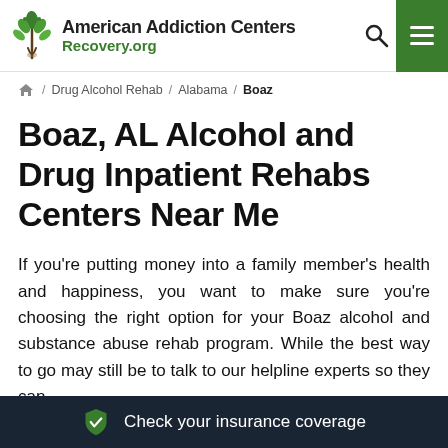American Addiction Centers Recovery.org
/ Drug Alcohol Rehab / Alabama / Boaz
Boaz, AL Alcohol and Drug Inpatient Rehabs Centers Near Me
If you’re putting money into a family member’s health and happiness, you want to make sure you’re choosing the right option for your Boaz alcohol and substance abuse rehab program. While the best way to go may still be to talk to our helpline experts so they can
Check your insurance coverage